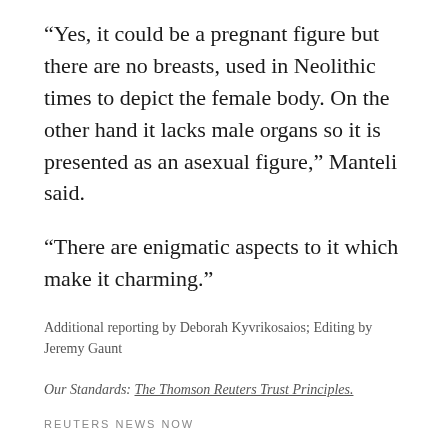“Yes, it could be a pregnant figure but there are no breasts, used in Neolithic times to depict the female body. On the other hand it lacks male organs so it is presented as an asexual figure,” Manteli said.
“There are enigmatic aspects to it which make it charming.”
Additional reporting by Deborah Kyvrikosaios; Editing by Jeremy Gaunt
Our Standards: The Thomson Reuters Trust Principles.
REUTERS NEWS NOW
Subscribe to our daily curated newsletter to receive the latest exclusive Reuters coverage delivered to your inbox.